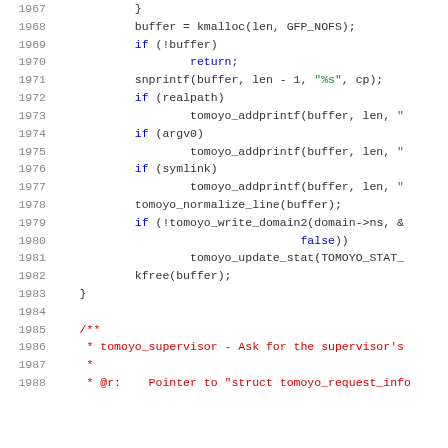[Figure (screenshot): Source code listing in C, lines 1967-1988, showing a function body with kmalloc, snprintf, tomoyo_addprintf, tomoyo_normalize_line, tomoyo_write_domain2, tomoyo_update_stat, kfree calls, followed by a Javadoc comment block for tomoyo_supervisor.]